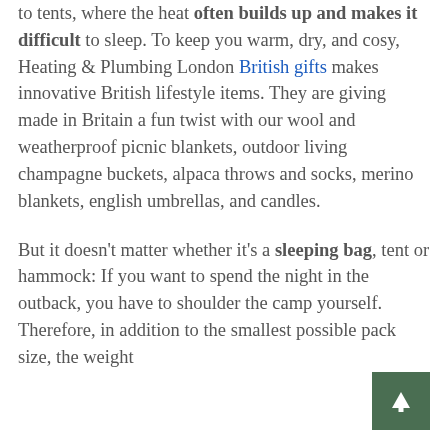to tents, where the heat often builds up and makes it difficult to sleep. To keep you warm, dry, and cosy, Heating & Plumbing London British gifts makes innovative British lifestyle items. They are giving made in Britain a fun twist with our wool and weatherproof picnic blankets, outdoor living champagne buckets, alpaca throws and socks, merino blankets, english umbrellas, and candles.
But it doesn't matter whether it's a sleeping bag, tent or hammock: If you want to spend the night in the outback, you have to shoulder the camp yourself. Therefore, in addition to the smallest possible pack size, the weight